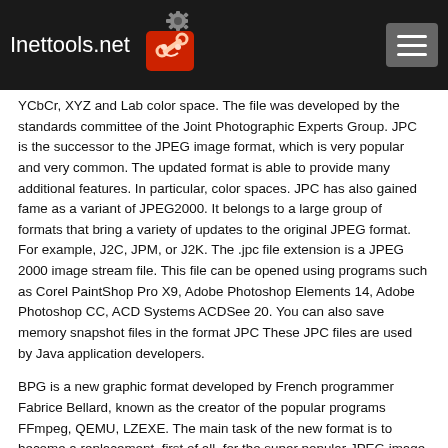Inettools.net
YCbCr, XYZ and Lab color space. The file was developed by the standards committee of the Joint Photographic Experts Group. JPC is the successor to the JPEG image format, which is very popular and very common. The updated format is able to provide many additional features. In particular, color spaces. JPC has also gained fame as a variant of JPEG2000. It belongs to a large group of formats that bring a variety of updates to the original JPEG format. For example, J2C, JPM, or J2K. The .jpc file extension is a JPEG 2000 image stream file. This file can be opened using programs such as Corel PaintShop Pro X9, Adobe Photoshop Elements 14, Adobe Photoshop CC, ACD Systems ACDSee 20. You can also save memory snapshot files in the format JPC These JPC files are used by Java application developers.
BPG is a new graphic format developed by French programmer Fabrice Bellard, known as the creator of the popular programs FFmpeg, QEMU, LZEXE. The main task of the new format is to become a replacement, first of all, for the super popular JPEG image format. According to the developer, such a replacement is necessary where the file size or quality is of great importance.